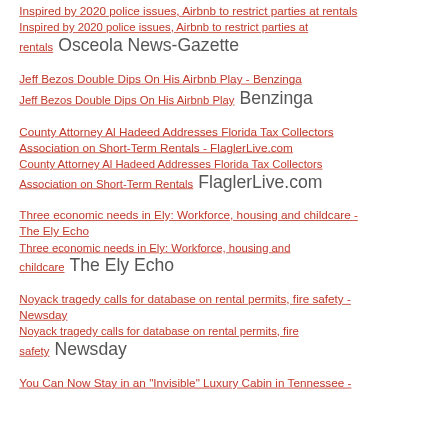Inspired by 2020 police issues, Airbnb to restrict parties at rentals  Osceola News-Gazette
Jeff Bezos Double Dips On His Airbnb Play - Benzinga  Jeff Bezos Double Dips On His Airbnb Play  Benzinga
County Attorney Al Hadeed Addresses Florida Tax Collectors Association on Short-Term Rentals - FlaglerLive.com  County Attorney Al Hadeed Addresses Florida Tax Collectors Association on Short-Term Rentals  FlaglerLive.com
Three economic needs in Ely: Workforce, housing and childcare - The Ely Echo  Three economic needs in Ely: Workforce, housing and childcare  The Ely Echo
Noyack tragedy calls for database on rental permits, fire safety - Newsday  Noyack tragedy calls for database on rental permits, fire safety  Newsday
You Can Now Stay in an "Invisible" Luxury Cabin in Tennessee -